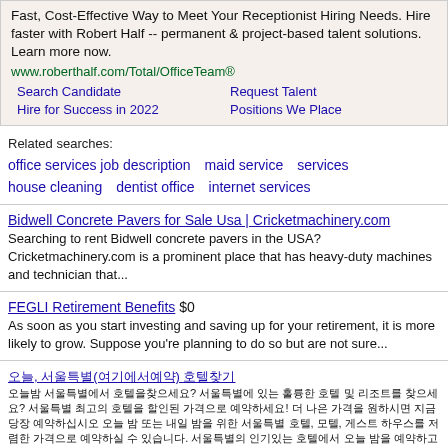Fast, Cost-Effective Way to Meet Your Receptionist Hiring Needs. Hire faster with Robert Half -- permanent & project-based talent solutions. Learn more now.
www.roberthalf.com/Total/OfficeTeam®
Search Candidate
Request Talent
Hire for Success in 2022
Positions We Place
Related searches:
office services job description
maid service
services
house cleaning
dentist office
internet services
Bidwell Concrete Pavers for Sale Usa | Cricketmachinery.com
Searching to rent Bidwell concrete pavers in the USA? Cricketmachinery.com is a prominent place that has heavy-duty machines and technician that...
FEGLI Retirement Benefits $0
As soon as you start investing and saving up for your retirement, it is more likely to grow. Suppose you're planning to do so but are not sure...
Korean language search result link
Korean language search result snippet
Vancouver photographer